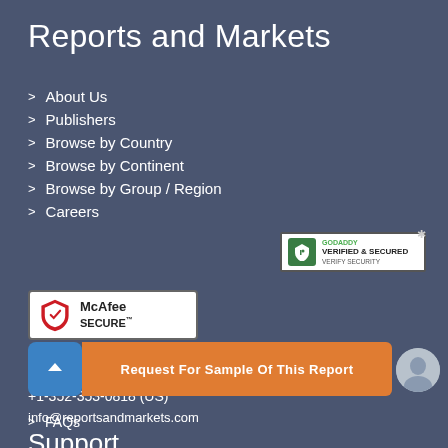Reports and Markets
About Us
Publishers
Browse by Country
Browse by Continent
Browse by Group / Region
Careers
[Figure (logo): GoDaddy Verified & Secured badge]
[Figure (logo): McAfee SECURE badge]
Contact Us
+1-352-353-0818 (US)
info@reportsandmarkets.com
Support
[Figure (infographic): Request For Sample Of This Report button with scroll-up arrow and user avatar]
FAQs